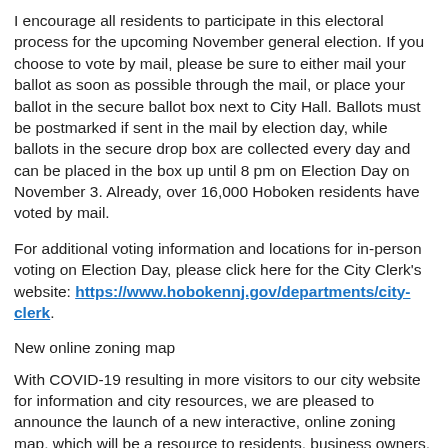I encourage all residents to participate in this electoral process for the upcoming November general election. If you choose to vote by mail, please be sure to either mail your ballot as soon as possible through the mail, or place your ballot in the secure ballot box next to City Hall. Ballots must be postmarked if sent in the mail by election day, while ballots in the secure drop box are collected every day and can be placed in the box up until 8 pm on Election Day on November 3. Already, over 16,000 Hoboken residents have voted by mail.
For additional voting information and locations for in-person voting on Election Day, please click here for the City Clerk's website: https://www.hobokennj.gov/departments/city-clerk.
New online zoning map
With COVID-19 resulting in more visitors to our city website for information and city resources, we are pleased to announce the launch of a new interactive, online zoning map, which will be a resource to residents, business owners, property owners, and municipal staff. The